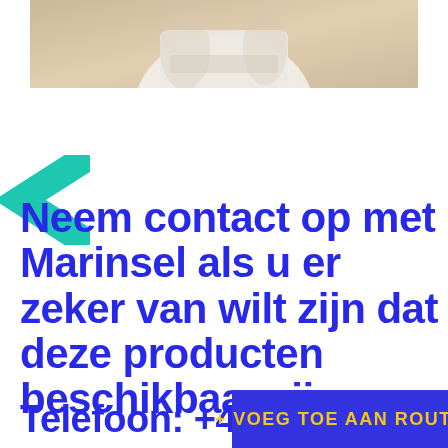[Figure (photo): Partial photo of a person wearing white clothing, cropped to show torso/lower body against a neutral beige background]
Neem contact op met Marinsel als u er zeker van wilt zijn dat deze producten beschikbaar zijn.
Telefoon: +41
+ VOEG TOE AAN ROUTE